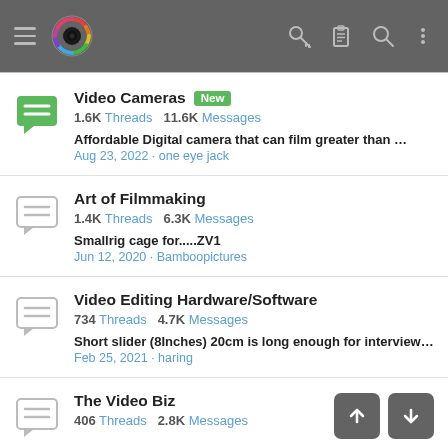App header bar with menu, logo, key, clipboard, search, and more icons
Video Cameras [New] — 1.6K Threads 11.6K Messages — Affordable Digital camera that can film greater than 30 minute cli... — Aug 23, 2022 · one eye jack
Art of Filmmaking — 1.4K Threads 6.3K Messages — Smallrig cage for.....ZV1 — Jun 12, 2020 · Bamboopictures
Video Editing Hardware/Software — 734 Threads 4.7K Messages — Short slider (8Inches) 20cm is long enough for interview B roll? — Feb 25, 2021 · haring
The Video Biz — 406 Threads 2.8K Messages